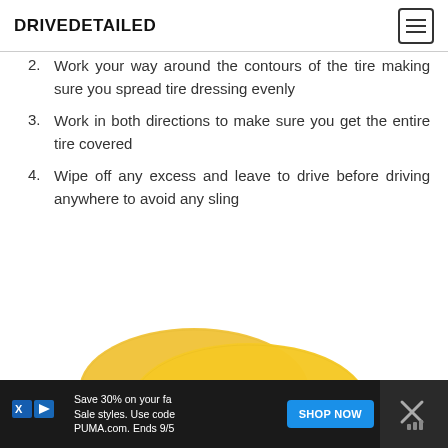DRIVEDETAILED
2. Work your way around the contours of the tire making sure you spread tire dressing evenly
3. Work in both directions to make sure you get the entire tire covered
4. Wipe off any excess and leave to drive before driving anywhere to avoid any sling
[Figure (photo): Two round yellow foam/sponge applicator pads overlapping on a white background]
Save 30% on your fa... Sale styles. Use code... PUMA.com. Ends 9/5... SHOP NOW